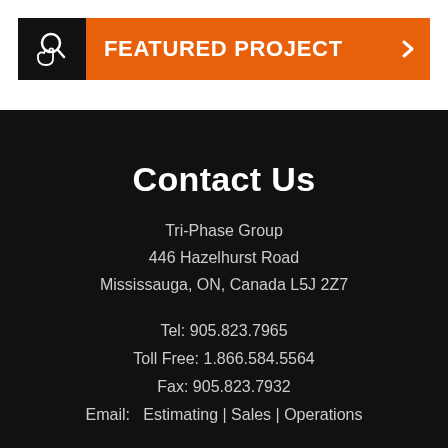[Figure (infographic): Orange and black banner with hand/magnifying glass icon and text FEATURED PROJECT with a right arrow chevron]
Contact Us
Tri-Phase Group
446 Hazelhurst Road
Mississauga, ON, Canada L5J 2Z7
Tel: 905.823.7965
Toll Free: 1.866.584.5564
Fax: 905.823.7932
Email:   Estimating | Sales | Operations
[Figure (infographic): Three social media icons (Facebook, Instagram, LinkedIn) as grey circles]